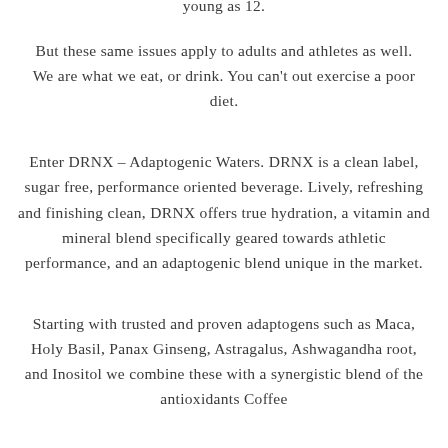young as 12.
But these same issues apply to adults and athletes as well. We are what we eat, or drink. You can't out exercise a poor diet.
Enter DRNX – Adaptogenic Waters. DRNX is a clean label, sugar free, performance oriented beverage. Lively, refreshing and finishing clean, DRNX offers true hydration, a vitamin and mineral blend specifically geared towards athletic performance, and an adaptogenic blend unique in the market.
Starting with trusted and proven adaptogens such as Maca, Holy Basil, Panax Ginseng, Astragalus, Ashwagandha root, and Inositol we combine these with a synergistic blend of the antioxidants Coffee